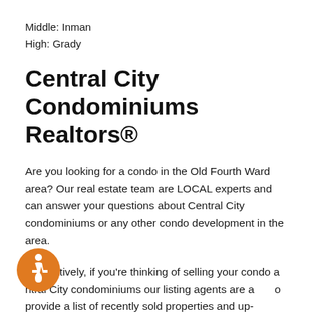Middle: Inman
High: Grady
Central City Condominiums Realtors®
Are you looking for a condo in the Old Fourth Ward area? Our real estate team are LOCAL experts and can answer your questions about Central City condominiums or any other condo development in the area.
Alternatively, if you're thinking of selling your condo at Central City condominiums our listing agents are able to provide a list of recently sold properties and up-to-date information about the Old Fourth Ward area...
[Figure (illustration): Orange circular accessibility icon (wheelchair symbol) in bottom-left corner of the page]